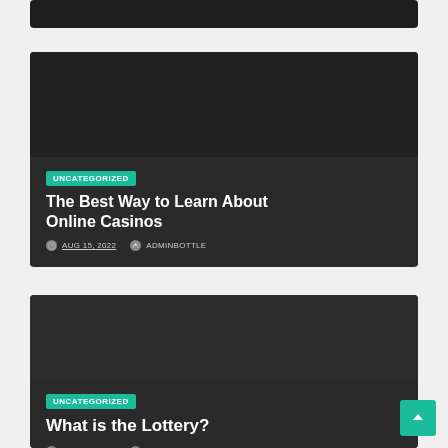[Figure (screenshot): Top dark card strip - partial view of previous blog post card]
[Figure (screenshot): Blog post card with dark background for 'The Best Way to Learn About Online Casinos']
UNCATEGORIZED
The Best Way to Learn About Online Casinos
AUG 15, 2022   ADMINBOTTLE
[Figure (screenshot): Blog post card with dark background for 'What is the Lottery?']
UNCATEGORIZED
What is the Lottery?
AUG 14, 2022   ADMINBOTTLE